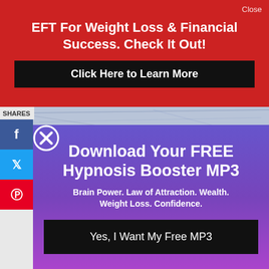EFT For Weight Loss & Financial Success. Check It Out!
Click Here to Learn More
Close
SHARES
[Figure (screenshot): Sketch/drawing background image visible behind social share bar]
[Figure (infographic): Popup overlay with close button (X circle), title, subtitle, and CTA button]
Download Your FREE Hypnosis Booster MP3
Brain Power. Law of Attraction. Wealth. Weight Loss. Confidence.
Yes, I Want My Free MP3